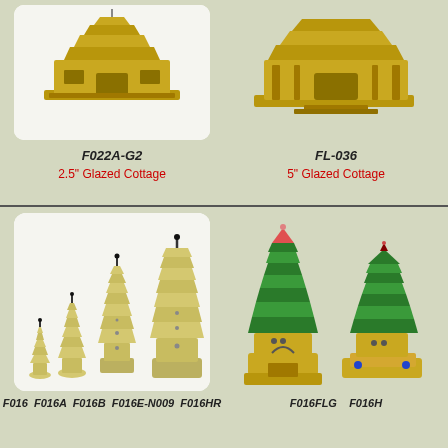[Figure (photo): Photo of a small glazed cottage figurine (2.5") in golden/tan color, product code F022A-G2]
F022A-G2
2.5" Glazed Cottage
[Figure (photo): Photo of a larger glazed cottage figurine (5") in golden/tan color, product code FL-036]
FL-036
5" Glazed Cottage
[Figure (photo): Photo of four ceramic pagoda tower figurines in varying sizes, cream/light yellow glaze, product codes F016, F016A, F016B, F016E-N009, F016HR]
F016  F016A  F016B  F016E-N009  F016HR
[Figure (photo): Photo of two larger glazed pagoda tower figurines in green glaze with tan base, product codes F016FLG and F016H]
F016FLG    F016H